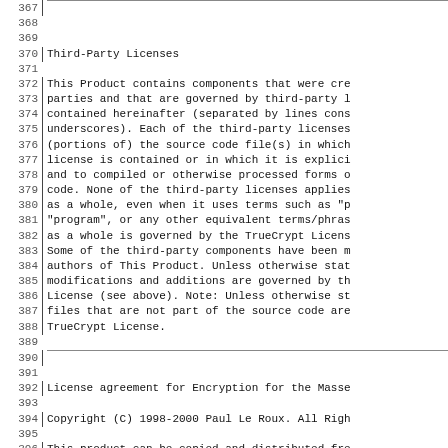367 [horizontal rule]
368
369
370 Third-Party Licenses
371
372 This Product contains components that were cre
373 parties and that are governed by third-party l
374 contained hereinafter (separated by lines cons
375 underscores). Each of the third-party licenses
376 (portions of) the source code file(s) in which
377 license is contained or in which it is explici
378 and to compiled or otherwise processed forms o
379 code. None of the third-party licenses applies
380 as a whole, even when it uses terms such as "p
381 "program", or any other equivalent terms/phras
382 as a whole is governed by the TrueCrypt Licens
383 Some of the third-party components have been m
384 authors of This Product. Unless otherwise stat
385 modifications and additions are governed by th
386 License (see above). Note: Unless otherwise st
387 files that are not part of the source code are
388 TrueCrypt License.
389
390 [horizontal rule]
391
392 License agreement for Encryption for the Masse
393
394 Copyright (C) 1998-2000 Paul Le Roux. All Righ
395
396 This product can be copied and distributed fre